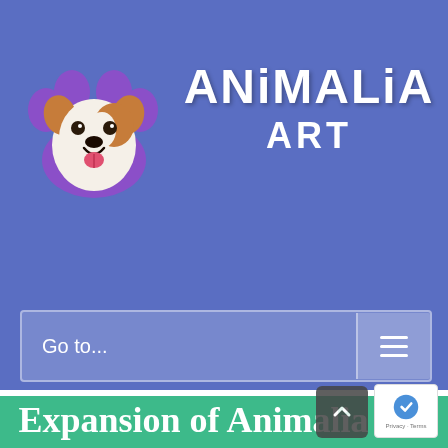[Figure (logo): Animalia Art logo: purple paw print with a cartoon Jack Russell terrier dog face in the center, next to bold white text reading 'ANiMALiA ART' on a blue/periwinkle background]
Go to...
Expansion of Animalia Art website to accommodate my new Snap Button Jewellery